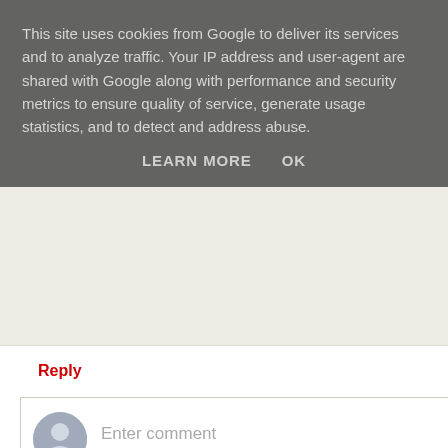This site uses cookies from Google to deliver its services and to analyze traffic. Your IP address and user-agent are shared with Google along with performance and security metrics to ensure quality of service, generate usage statistics, and to detect and address abuse.
LEARN MORE    OK
Reply
Enter comment
Newer Post
Ho
Subscribe to: Post